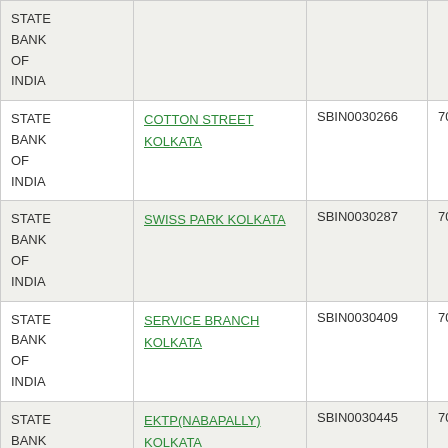| Bank Name | Branch Name | IFSC Code | MICR Code |
| --- | --- | --- | --- |
| STATE BANK OF INDIA | INDIA |  |  |
| STATE BANK OF INDIA | COTTON STREET KOLKATA | SBIN0030266 | 700005003 |
| STATE BANK OF INDIA | SWISS PARK KOLKATA | SBIN0030287 | 700005005 |
| STATE BANK OF INDIA | SERVICE BRANCH KOLKATA | SBIN0030409 | 700005001 |
| STATE BANK OF INDIA | EKTP(NABAPALLY) KOLKATA | SBIN0030445 | 700005006 |